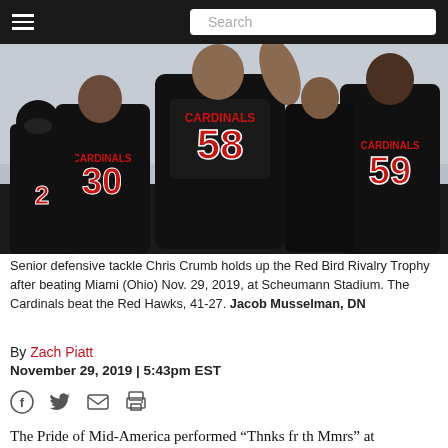Navigation bar with hamburger menu and Search box
[Figure (photo): Football players in black Cardinals uniforms. Player #58 raises his arm, flanked by players #30, #2, #59 on a cloudy day after a game.]
Senior defensive tackle Chris Crumb holds up the Red Bird Rivalry Trophy after beating Miami (Ohio) Nov. 29, 2019, at Scheumann Stadium. The Cardinals beat the Red Hawks, 41-27. Jacob Musselman, DN
By Zach Piatt
November 29, 2019 | 5:43pm EST
The Pride of Mid-America performed “Thnks fr th Mmrs” at